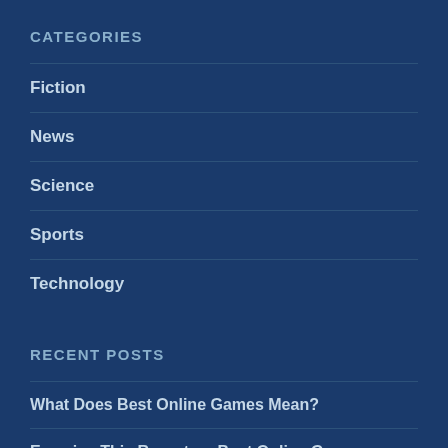CATEGORIES
Fiction
News
Science
Sports
Technology
RECENT POSTS
What Does Best Online Games Mean?
Examine This Report on Best Online Games